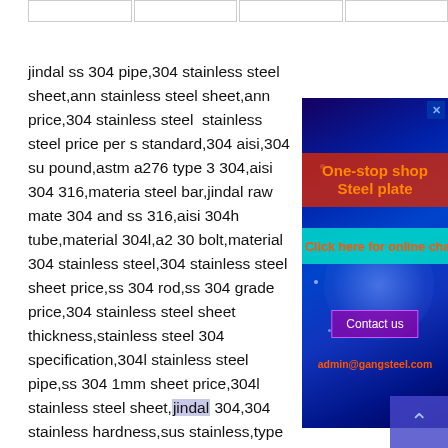|  |
jindal ss 304 pipe,304 stainless steel sheet,ann stainless steel sheet,ann price,304 stainless steel stainless steel price per s standard,304 aisi,304 su pound,astm a276 type 3 304,aisi 304 316,materia steel bar,jindal raw mate 304 and ss 316,aisi 304h tube,material 304l,a2 30 bolt,material 304 stainless steel,304 stainless steel sheet price,ss 304 rod,ss 304 grade price,304 stainless steel sheet thickness,stainless steel 304 specification,304l stainless steel pipe,ss 304 1mm sheet price,304l stainless steel sheet,jindal 304,304 stainless hardness,sus stainless,type 304,304 stainless steel flat sheet,sheet steel 300,sus stainless jindal
[Figure (screenshot): Advertisement overlay with blue gradient background, glowing orb, red banner reading 'One-stop shop Steel plate', cyan banner reading 'Click here for online chat', purple 'Contact us' button, and orange email address 'admin@gangsteel.com']